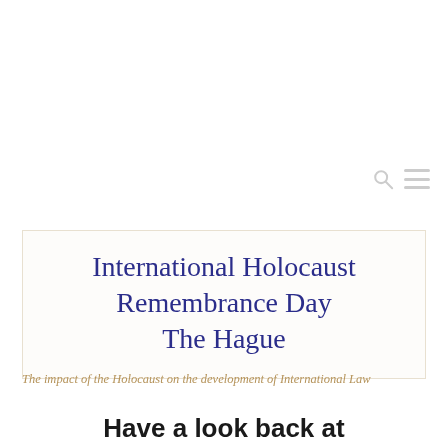International Holocaust Remembrance Day The Hague
The impact of the Holocaust on the development of International Law
Have a look back at